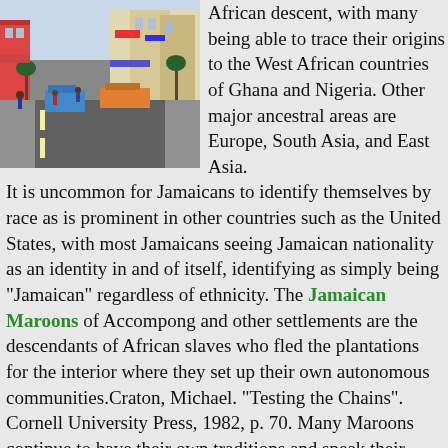[Figure (photo): Street scene photo showing a busy road with pedestrians and buildings, likely a Jamaican town street]
African descent, with many being able to trace their origins to the West African countries of Ghana and Nigeria. Other major ancestral areas are Europe, South Asia, and East Asia. It is uncommon for Jamaicans to identify themselves by race as is prominent in other countries such as the United States, with most Jamaicans seeing Jamaican nationality as an identity in and of itself, identifying as simply being "Jamaican" regardless of ethnicity. The Jamaican Maroons of Accompong and other settlements are the descendants of African slaves who fled the plantations for the interior where they set up their own autonomous communities.Craton, Michael. "Testing the Chains". Cornell University Press, 1982, p. 70. Many Maroons continue to have their own traditions and speak their own language, known locally as Kromanti. Asians form the second-largest group and include Indo-Jamaicans and Chinese Jamaicans.The World Factbook CIA (The World Factbook): Jamaica Most are descended from indentured workers brought by the British colonial government to fill labour shortages following the abolition of slavery in 1838. Prominent